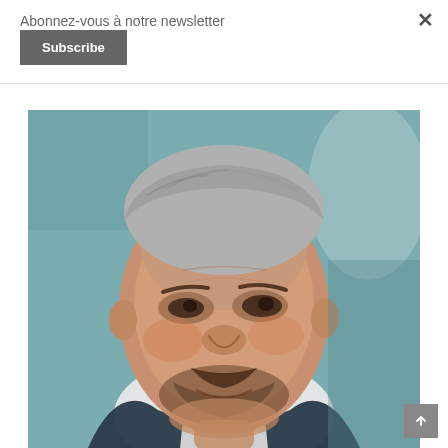Abonnez-vous à notre newsletter
Subscribe
[Figure (illustration): A painted portrait of a middle-aged man with short grey hair, a moustache and light beard, smiling slightly. He wears a dark jacket over a white shirt. The background is a muted teal/blue-grey.]